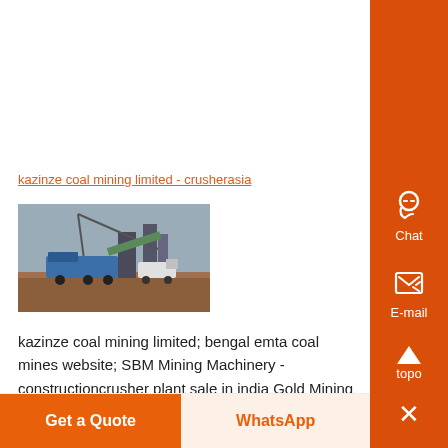kazinze coal mining limited - crusherasia
[Figure (photo): Industrial mining/crushing equipment and machinery at a facility, with cranes and conveyor structures visible under an overcast sky]
kazinze coal mining limited; bengal emta coal mines website; SBM Mining Machinery - constructioncrusher plant sale in india Gold Mining ,...
Get a Quote
WhatsApp